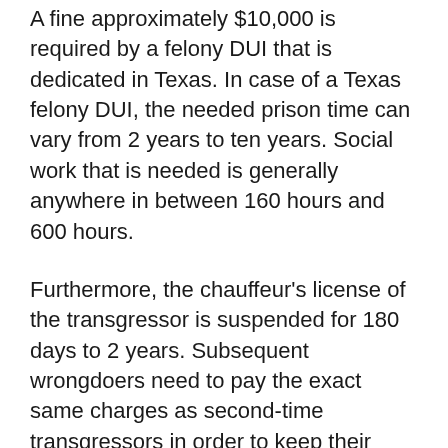A fine approximately $10,000 is required by a felony DUI that is dedicated in Texas. In case of a Texas felony DUI, the needed prison time can vary from 2 years to ten years. Social work that is needed is generally anywhere in between 160 hours and 600 hours.
Furthermore, the chauffeur's license of the transgressor is suspended for 180 days to 2 years. Subsequent wrongdoers need to pay the exact same charges as second-time transgressors in order to keep their chauffeur's license.
The transgressor is charged with felony DUI if a DUI in Texas is devoted 3 times or more.